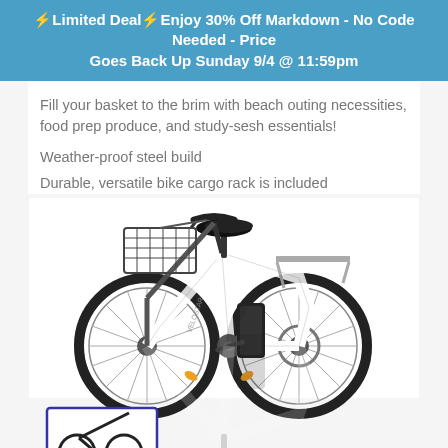⚡Limited Deal⚡Enjoy 30% Off Markdown - No Code Needed - Price Goes Back Up Sunday 9/4 @ 11:59pm
Fill your basket to the brim with beach outing necessities, food prep produce, and study-sesh essentials!
Weather-proof steel build
Durable, versatile bike cargo rack is included
[Figure (photo): White electric city bike with front basket, rear cargo rack, black seat, and orange reflectors on tires. Reflection visible below the bike. A partially visible image thumbnail at the bottom left.]